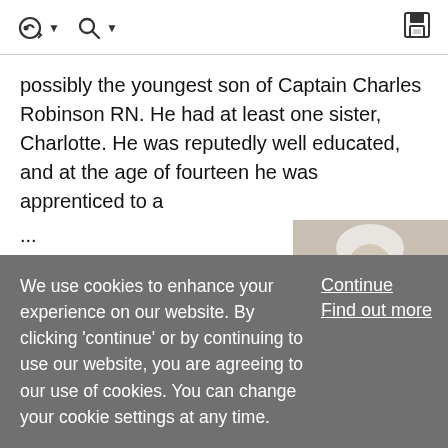[Figure (screenshot): Browser toolbar with navigation/search icons and a save icon on the right]
possibly the youngest son of Captain Charles Robinson RN. He had at least one sister, Charlotte. He was reputedly well educated, and at the age of fourteen he was apprenticed to a
...
Ruspini, Bartholomew (1730–1813)
Maker: Ozias Humphry
[Figure (photo): Grayscale portrait of Bartholomew Ruspini, an elderly man with white hair]
We use cookies to enhance your experience on our website. By clicking 'continue' or by continuing to use our website, you are agreeing to our use of cookies. You can change your cookie settings at any time.